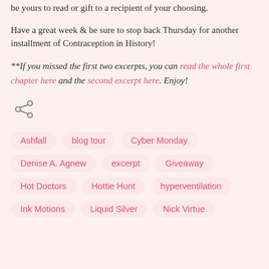be yours to read or gift to a recipient of your choosing.
Have a great week & be sure to stop back Thursday for another installment of Contraception in History!
**If you missed the first two excerpts, you can read the whole first chapter here and the second excerpt here. Enjoy!
[Figure (other): Share icon (less-than style share symbol)]
Ashfall
blog tour
Cyber Monday
Denise A. Agnew
excerpt
Giveaway
Hot Doctors
Hottie Hunt
hyperventilation
Ink Motions
Liquid Silver
Nick Virtue